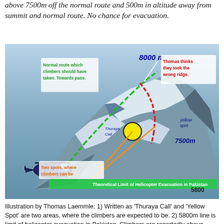above 7500m off the normal route and 500m in altitude away from summit and normal route. No chance for evacuation.
[Figure (illustration): Annotated aerial/satellite photograph of a mountain showing routes and key locations. Green dashed line = 'Normal route which climbers should have taken. Towards pass.' Red dashed line = route Thomas thinks they took ('wrong ridge'). Yellow circle = 'Thuraya Call' yellow spot at ~7500m. Orange lines indicate 'Two spots, where climbers can be'. Green bar at bottom = 'Theoretical Limit of Helicopter Evacuation in Pakistan' at 5800m. Helicopter illustration at bottom-left. Labels: 8000m (top), 7500m (right), 5800 (bottom-right).]
Illustration by Thomas Laemmle: 1) Written as 'Thuraya Call' and 'Yellow Spot' are two areas, where the climbers are expected to be. 2) 5800m line is limit of helicopter evacuation in Pakistan. Climbers are reportedly above 7500m. 3) A...